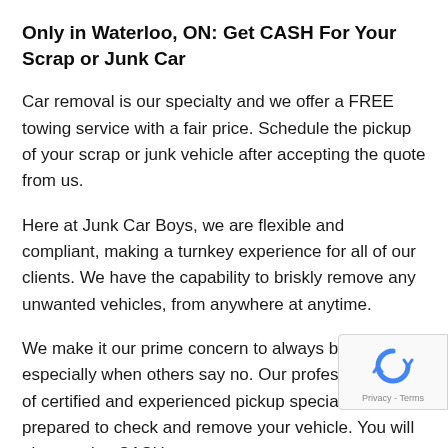Only in Waterloo, ON: Get CASH For Your Scrap or Junk Car
Car removal is our specialty and we offer a FREE towing service with a fair price. Schedule the pickup of your scrap or junk vehicle after accepting the quote from us.
Here at Junk Car Boys, we are flexible and compliant, making a turnkey experience for all of our clients. We have the capability to briskly remove any unwanted vehicles, from anywhere at anytime.
We make it our prime concern to always be available, especially when others say no. Our professional staff of certified and experienced pickup specialists are prepared to check and remove your vehicle. You will also receive CASH on